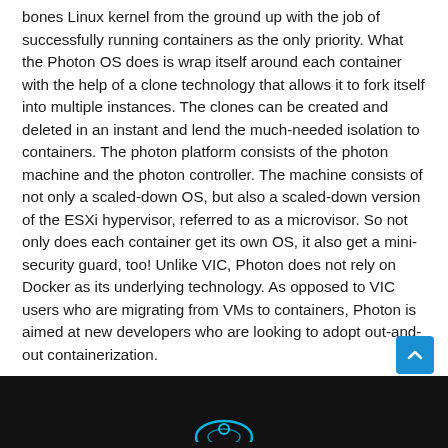bones Linux kernel from the ground up with the job of successfully running containers as the only priority. What the Photon OS does is wrap itself around each container with the help of a clone technology that allows it to fork itself into multiple instances. The clones can be created and deleted in an instant and lend the much-needed isolation to containers. The photon platform consists of the photon machine and the photon controller. The machine consists of not only a scaled-down OS, but also a scaled-down version of the ESXi hypervisor, referred to as a microvisor. So not only does each container get its own OS, it also get a mini-security guard, too! Unlike VIC, Photon does not rely on Docker as its underlying technology. As opposed to VIC users who are migrating from VMs to containers, Photon is aimed at new developers who are looking to adopt out-and-out containerization.
[Figure (photo): Dark background image with a glowing blue circular arc or icon at the bottom of the page]